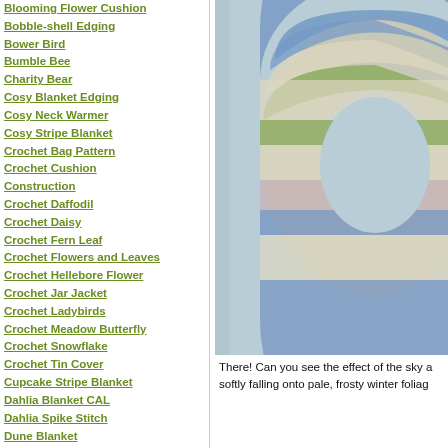Blooming Flower Cushion
Bobble-shell Edging
Bower Bird
Bumble Bee
Charity Bear
Cosy Blanket Edging
Cosy Neck Warmer
Cosy Stripe Blanket
Crochet Bag Pattern
Crochet Cushion Construction
Crochet Daffodil
Crochet Daisy
Crochet Fern Leaf
Crochet Flowers and Leaves
Crochet Hellebore Flower
Crochet Jar Jacket
Crochet Ladybirds
Crochet Meadow Butterfly
Crochet Snowflake
Crochet Tin Cover
Cupcake Stripe Blanket
Dahlia Blanket CAL
Dahlia Spike Stitch
Dune Blanket
Dune Blanket Edging
Easy Eyelet Ripple
[Figure (photo): Close-up photo of a crocheted wreath/ring in stripes of blue, cream, green, and pink tones, photographed on a pale blue-grey surface.]
There! Can you see the effect of the sky a softly falling onto pale, frosty winter foliag